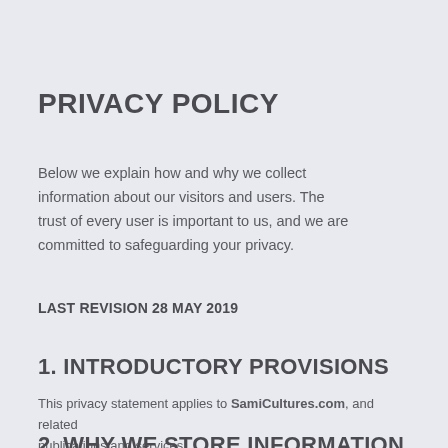PRIVACY POLICY
Below we explain how and why we collect information about our visitors and users. The trust of every user is important to us, and we are committed to safeguarding your privacy.
LAST REVISION 28 MAY 2019
1. INTRODUCTORY PROVISIONS
This privacy statement applies to SamiCultures.com, and related publications and services.
2. WHY WE STORE INFORMATION